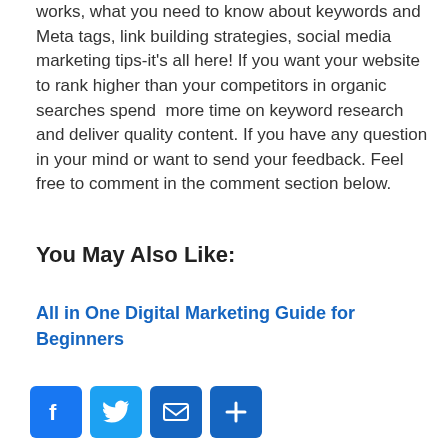works, what you need to know about keywords and Meta tags, link building strategies, social media marketing tips-it's all here! If you want your website to rank higher than your competitors in organic searches spend  more time on keyword research and deliver quality content. If you have any question in your mind or want to send your feedback. Feel free to comment in the comment section below.
You May Also Like:
All in One Digital Marketing Guide for Beginners
[Figure (other): Social sharing icons: Facebook, Twitter, Email, Share More (plus sign)]